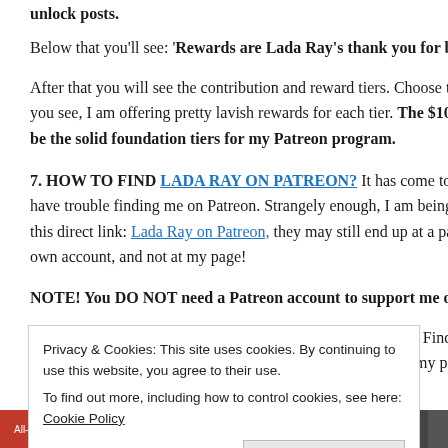unlock posts.
Below that you'll see: 'Rewards are Lada Ray's thank you for being
After that you will see the contribution and reward tiers. Choose the one you see, I am offering pretty lavish rewards for each tier. The $10+ and be the solid foundation tiers for my Patreon program.
7. HOW TO FIND LADA RAY ON PATREON? It has come to my attention have trouble finding me on Patreon. Strangely enough, I am being told this direct link: Lada Ray on Patreon, they may still end up at a page that own account, and not at my page!
NOTE! You DO NOT need a Patreon account to support me on Patreon.
Should this happen to you, please do a search for Lada Ray. Find the Patreon page and type in LADA RAY. That will take you to my page. An
Privacy & Cookies: This site uses cookies. By continuing to use this website, you agree to their use.
To find out more, including how to control cookies, see here: Cookie Policy
Close and accept